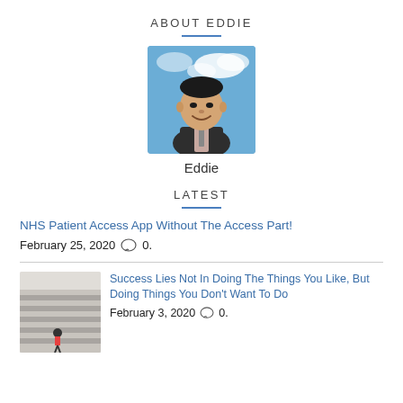ABOUT EDDIE
[Figure (photo): Portrait photo of Eddie, a man in a dark suit jacket smiling, with a blue sky and clouds in the background.]
Eddie
LATEST
NHS Patient Access App Without The Access Part!
February 25, 2020  ○0.
[Figure (photo): Thumbnail photo of a person in a red top standing at the bottom of large concrete stairs.]
Success Lies Not In Doing The Things You Like, But Doing Things You Don't Want To Do
February 3, 2020  ○0.